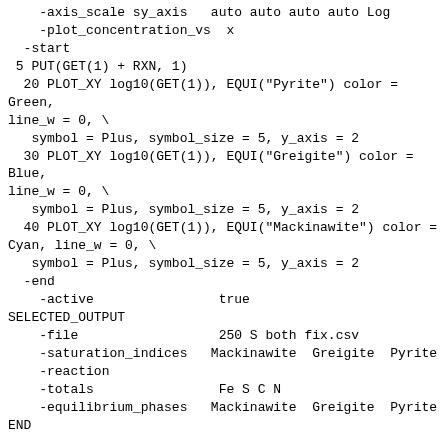-axis_scale sy_axis   auto auto auto auto Log
    -plot_concentration_vs  x
  -start
 5 PUT(GET(1) + RXN, 1)
  20 PLOT_XY log10(GET(1)), EQUI("Pyrite") color = Green, line_w = 0, \
   symbol = Plus, symbol_size = 5, y_axis = 2
  30 PLOT_XY log10(GET(1)), EQUI("Greigite") color = Blue, line_w = 0, \
   symbol = Plus, symbol_size = 5, y_axis = 2
  40 PLOT_XY log10(GET(1)), EQUI("Mackinawite") color = Cyan, line_w = 0, \
   symbol = Plus, symbol_size = 5, y_axis = 2
  -end
    -active                true
SELECTED_OUTPUT
    -file                  250 S both fix.csv
    -saturation_indices   Mackinawite  Greigite  Pyrite
    -reaction
    -totals                Fe S C N
    -equilibrium_phases   Mackinawite  Greigite  Pyrite
END
Reaction step 89.
Using solution 1. PURE WATER
Using pure phase assemblage 1.
Using reaction 1.